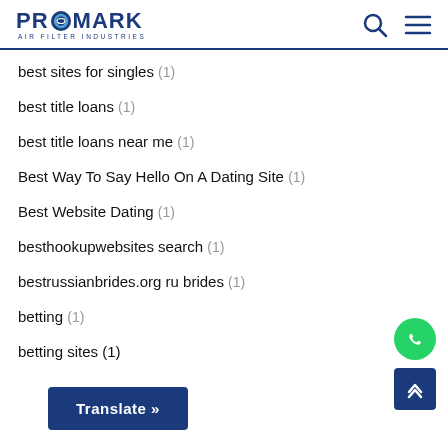PROMARK AIR FILTER INDUSTRIES
best sites for singles (1)
best title loans (1)
best title loans near me (1)
Best Way To Say Hello On A Dating Site (1)
Best Website Dating (1)
besthookupwebsites search (1)
bestrussianbrides.org ru brides (1)
betting (1)
betting sites (1)
Translate »